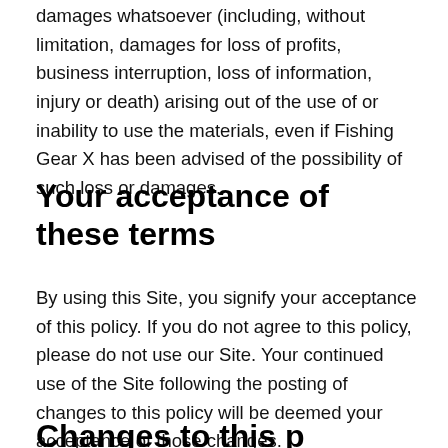damages whatsoever (including, without limitation, damages for loss of profits, business interruption, loss of information, injury or death) arising out of the use of or inability to use the materials, even if Fishing Gear X has been advised of the possibility of such loss or damages.
Your acceptance of these terms
By using this Site, you signify your acceptance of this policy. If you do not agree to this policy, please do not use our Site. Your continued use of the Site following the posting of changes to this policy will be deemed your acceptance of those changes.
Changes to this policy